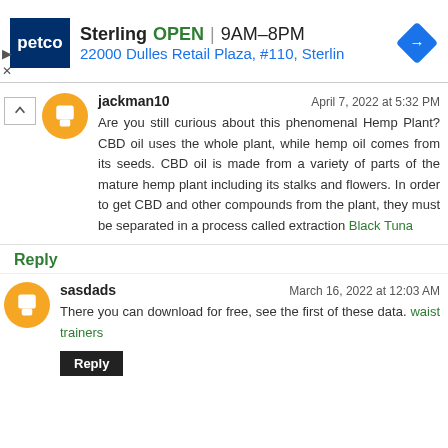[Figure (screenshot): Petco ad banner showing Sterling store: OPEN 9AM-8PM, 22000 Dulles Retail Plaza, #110, Sterlin, with navigation arrow icon]
jackman10   April 7, 2022 at 5:32 PM
Are you still curious about this phenomenal Hemp Plant? CBD oil uses the whole plant, while hemp oil comes from its seeds. CBD oil is made from a variety of parts of the mature hemp plant including its stalks and flowers. In order to get CBD and other compounds from the plant, they must be separated in a process called extraction Black Tuna
Reply
sasdads   March 16, 2022 at 12:03 AM
There you can download for free, see the first of these data. waist trainers
Reply